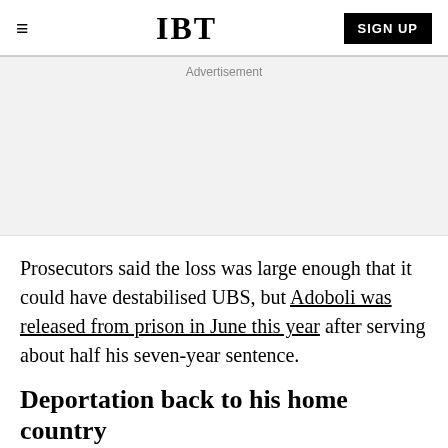IBT | SIGN UP
[Figure (other): Advertisement placeholder area (gray background)]
Prosecutors said the loss was large enough that it could have destabilised UBS, but Adoboli was released from prison in June this year after serving about half his seven-year sentence.
Deportation back to his home country